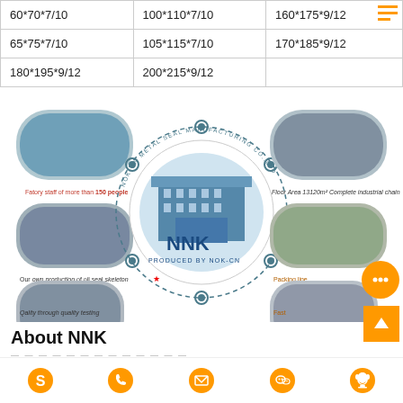|  |  |  |
| --- | --- | --- |
| 60*70*7/10 | 100*110*7/10 | 160*175*9/12 |
| 65*75*7/10 | 105*115*7/10 | 170*185*9/12 |
| 180*195*9/12 | 200*215*9/12 |  |
[Figure (infographic): NNK-CN Metal Seal Manufacturing Co., Ltd company infographic showing factory images arranged in a circle around a central building photo with NNK logo, with captions: Factory staff of more than 150 people, Our own production of oil seal skeleton, Quality through quality testing, Floor Area 13120m2 Complete industrial chain, Packing line, Fast delivery. PRODUCED BY NOK-CN text below logo.]
About NNK
Social contact icons: Skype, WhatsApp, Email, WeChat, QQ